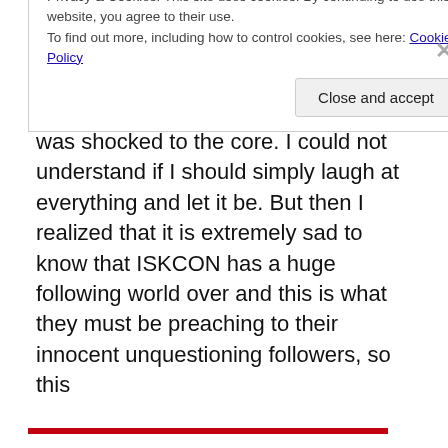Eclipse in the moon and eclipse in the Sun? I have never heard such preposterous claims in my life and I was shocked to the core. I could not understand if I should simply laugh at everything and let it be. But then I realized that it is extremely sad to know that ISKCON has a huge following world over and this is what they must be preaching to their innocent unquestioning followers, so this
Privacy & Cookies: This site uses cookies. By continuing to use this website, you agree to their use.
To find out more, including how to control cookies, see here: Cookie Policy
Close and accept